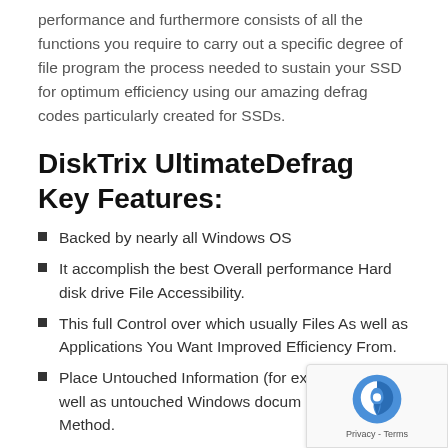performance and furthermore consists of all the functions you require to carry out a specific degree of file program the process needed to sustain your SSD for optimum efficiency using our amazing defrag codes particularly created for SSDs.
DiskTrix UltimateDefrag Key Features:
Backed by nearly all Windows OS
It accomplish the best Overall performance Hard disk drive File Accessibility.
This full Control over which usually Files As well as Applications You Want Improved Efficiency From.
Place Untouched Information (for example Files as well as untouched Windows documents From the Method.